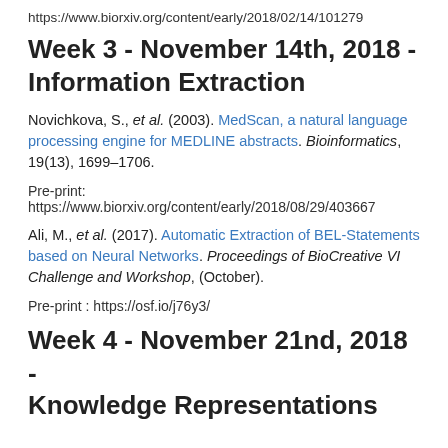https://www.biorxiv.org/content/early/2018/02/14/101279
Week 3 - November 14th, 2018 - Information Extraction
Novichkova, S., et al. (2003). MedScan, a natural language processing engine for MEDLINE abstracts. Bioinformatics, 19(13), 1699–1706.
Pre-print:
https://www.biorxiv.org/content/early/2018/08/29/403667
Ali, M., et al. (2017). Automatic Extraction of BEL-Statements based on Neural Networks. Proceedings of BioCreative VI Challenge and Workshop, (October).
Pre-print : https://osf.io/j76y3/
Week 4 - November 21nd, 2018 - Knowledge Representations